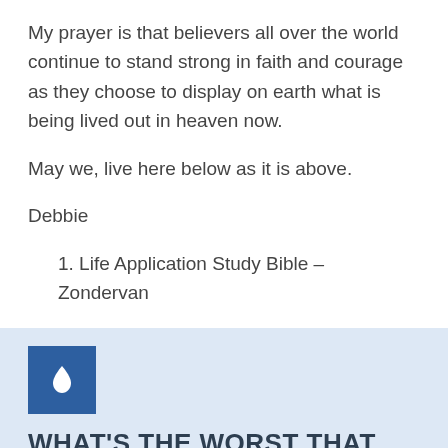My prayer is that believers all over the world continue to stand strong in faith and courage as they choose to display on earth what is being lived out in heaven now.
May we, live here below as it is above.
Debbie
1. Life Application Study Bible – Zondervan
[Figure (logo): Blue square icon with a white water drop symbol]
WHAT'S THE WORST THAT COULD